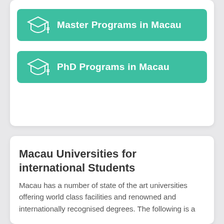[Figure (other): Teal button with graduation cap icon and text 'Master Programs in Macau']
[Figure (other): Teal button with graduation cap icon and text 'PhD Programs in Macau']
Macau Universities for international Students
Macau has a number of state of the art universities offering world class facilities and renowned and internationally recognised degrees. The following is a